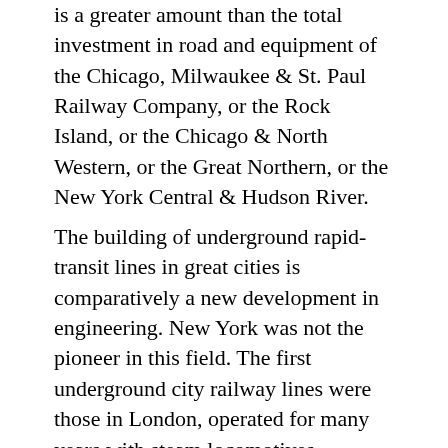is a greater amount than the total investment in road and equipment of the Chicago, Milwaukee & St. Paul Railway Company, or the Rock Island, or the Chicago & North Western, or the Great Northern, or the New York Central & Hudson River.
The building of underground rapid-transit lines in great cities is comparatively a new development in engineering. New York was not the pioneer in this field. The first underground city railway lines were those in London, operated for many years with steam locomotives. Underground lines operated by electric traction were built in London and Budapest and Boston before the first New York rapid-transit subway was in operation. The